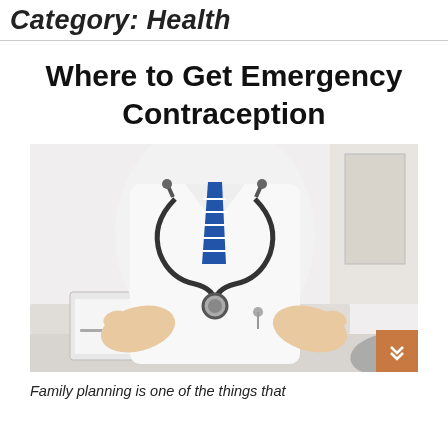Category: Health
Where to Get Emergency Contraception
[Figure (photo): A doctor in a white coat with a stethoscope around their neck, sitting at a desk with hands open in a consultation gesture, facing a patient across the desk.]
Family planning is one of the things that